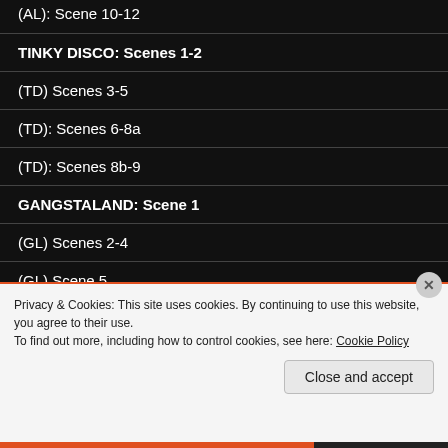(AL): Scene 10-12
TINKY DISCO: Scenes 1-2
(TD) Scenes 3-5
(TD): Scenes 6-8a
(TD): Scenes 8b-9
GANGSTALAND: Scene 1
(GL) Scenes 2-4
(GL) Scene 5
Privacy & Cookies: This site uses cookies. By continuing to use this website, you agree to their use.
To find out more, including how to control cookies, see here: Cookie Policy
Close and accept